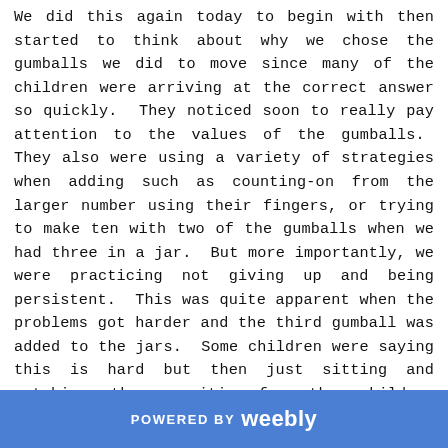We did this again today to begin with then started to think about why we chose the gumballs we did to move since many of the children were arriving at the correct answer so quickly. They noticed soon to really pay attention to the values of the gumballs. They also were using a variety of strategies when adding such as counting-on from the larger number using their fingers, or trying to make ten with two of the gumballs when we had three in a jar. But more importantly, we were practicing not giving up and being persistent. This was quite apparent when the problems got harder and the third gumball was added to the jars. Some children were saying this is hard but then just sitting and watching others, waiting for other children to solve. We talked about trying it again and again, like a puzzle until we got it right.
POWERED BY weebly